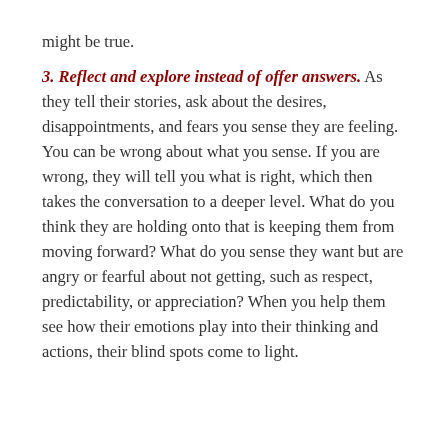might be true.
3. Reflect and explore instead of offer answers.
As they tell their stories, ask about the desires, disappointments, and fears you sense they are feeling. You can be wrong about what you sense. If you are wrong, they will tell you what is right, which then takes the conversation to a deeper level. What do you think they are holding onto that is keeping them from moving forward? What do you sense they want but are angry or fearful about not getting, such as respect, predictability, or appreciation? When you help them see how their emotions play into their thinking and actions, their blind spots come to light.